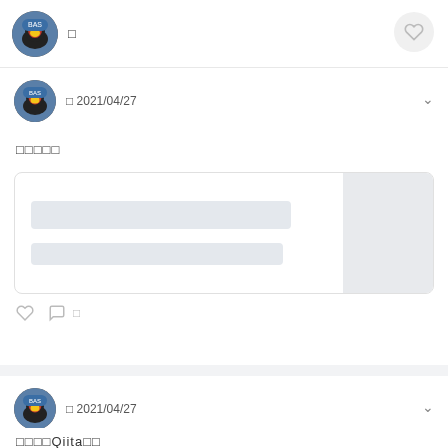□
□ 2021/04/27
□□□□□
[Figure (screenshot): Embedded link card with two gray placeholder bars on the left and a gray image placeholder on the right]
□ 2021/04/27
□□□□Qiita□□